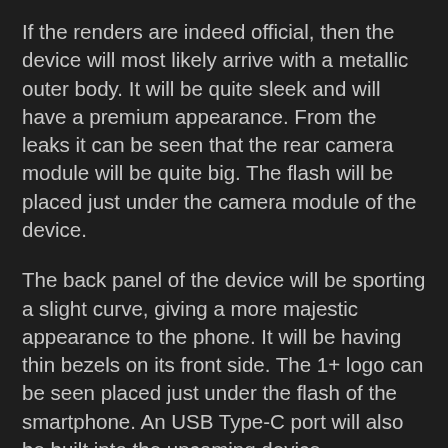If the renders are indeed official, then the device will most likely arrive with a metallic outer body. It will be quite sleek and will have a premium appearance. From the leaks it can be seen that the rear camera module will be quite big. The flash will be placed just under the camera module of the device.
The back panel of the device will be sporting a slight curve, giving a more majestic appearance to the phone. It will be having thin bezels on its front side. The 1+ logo can be seen placed just under the flash of the smartphone. An USB Type-C port will also be built into the upcoming device.
As for the technical aspects of the device, it will sport a 5.5-inch AMOLED Full HD display. Under its hood, it will be packed with the latest Snapdragon 820 processor from the house of Qualcomm which will have a clock speed of 2.15GHz. The processor